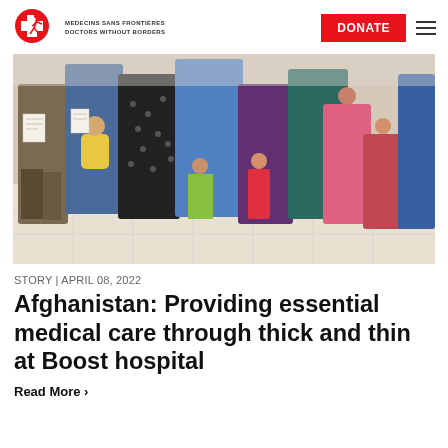MEDECINS SANS FRONTIERES DOCTORS WITHOUT BORDERS | DONATE
[Figure (photo): A row of women in traditional Afghan clothing (burqas and colorful dresses) standing together, some holding children, in what appears to be a hospital waiting area with white tiled floors.]
STORY | APRIL 08, 2022
Afghanistan: Providing essential medical care through thick and thin at Boost hospital
Read More >